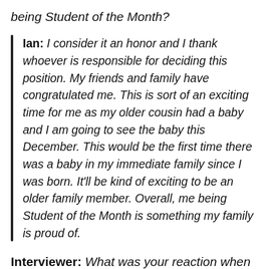being Student of the Month?
Ian: I consider it an honor and I thank whoever is responsible for deciding this position. My friends and family have congratulated me. This is sort of an exciting time for me as my older cousin had a baby and I am going to see the baby this December. This would be the first time there was a baby in my immediate family since I was born. It'll be kind of exciting to be an older family member. Overall, me being Student of the Month is something my family is proud of.
Interviewer: What was your reaction when you